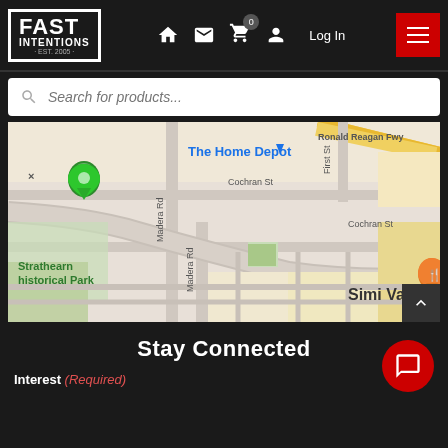[Figure (screenshot): Fast Intentions website navigation bar with logo, home icon, mail icon, cart icon with badge 0, user icon, Log In text, and red hamburger menu button]
[Figure (screenshot): Search bar with magnifying glass icon and placeholder text 'Search for products...']
[Figure (map): Google Maps screenshot showing Simi Valley area near The Home Depot, Cochran St, Madera Rd, Ronald Reagan Fwy, First St, and Strathearn Historical Park with a green location pin and orange map marker]
Stay Connected
Interest (Required)